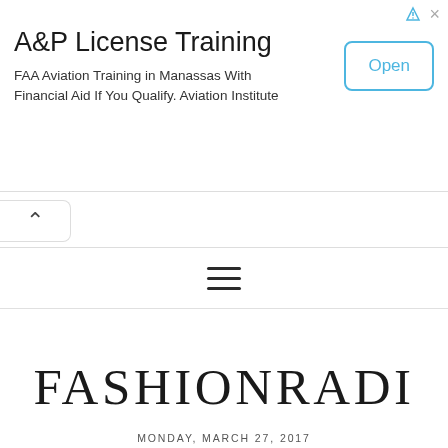[Figure (screenshot): Advertisement banner: A&P License Training — FAA Aviation Training in Manassas With Financial Aid If You Qualify. Aviation Institute — with an Open button and ad icons]
A&P License Training
FAA Aviation Training in Manassas With Financial Aid If You Qualify. Aviation Institute
[Figure (screenshot): Navigation back button (chevron up) in rounded box, and hamburger menu icon]
FASHIONRADI
MONDAY, MARCH 27, 2017